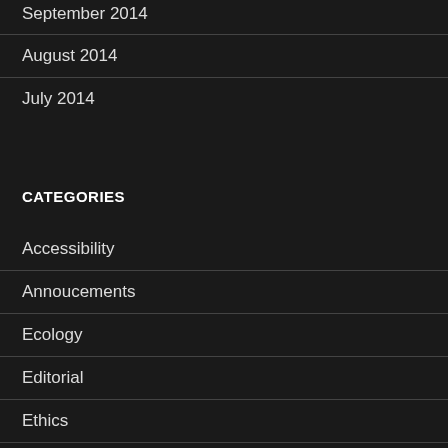September 2014
August 2014
July 2014
CATEGORIES
Accessibility
Annoucements
Ecology
Editorial
Ethics
Gaming
Health